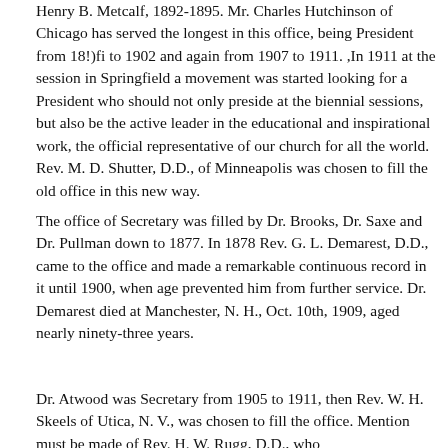Henry B. Metcalf, 1892-1895. Mr. Charles Hutchinson of Chicago has served the longest in this office, being President from 18!)fi to 1902 and again from 1907 to 1911. ,In 1911 at the session in Springfield a movement was started looking for a President who should not only preside at the biennial sessions, but also be the active leader in the educational and inspirational work, the official representative of our church for all the world. Rev. M. D. Shutter, D.D., of Minneapolis was chosen to fill the old office in this new way.
The office of Secretary was filled by Dr. Brooks, Dr. Saxe and Dr. Pullman down to 1877. In 1878 Rev. G. L. Demarest, D.D., came to the office and made a remarkable continuous record in it until 1900, when age prevented him from further service. Dr. Demarest died at Manchester, N. H., Oct. 10th, 1909, aged nearly ninety-three years.
Dr. Atwood was Secretary from 1905 to 1911, then Rev. W. H. Skeels of Utica, N. V., was chosen to fill the office. Mention must be made of Rev. H. W. Rugg, D.D., who